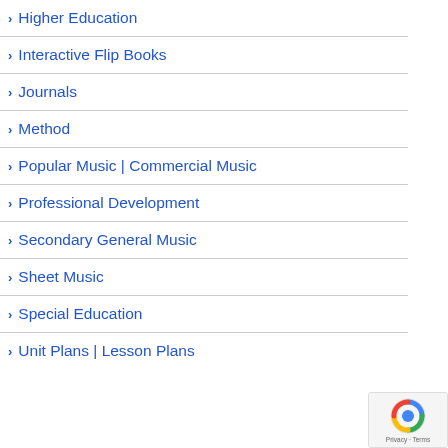Higher Education
Interactive Flip Books
Journals
Method
Popular Music | Commercial Music
Professional Development
Secondary General Music
Sheet Music
Special Education
Unit Plans | Lesson Plans